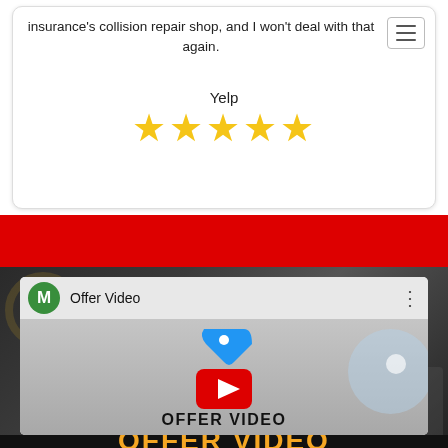insurance's collision repair shop, and I won't deal with that again.
Yelp
[Figure (other): Five yellow stars rating]
[Figure (screenshot): YouTube-style video player card titled 'Offer Video' with channel icon M, play button, tag logo, and OFFER VIDEO text overlay]
OFFER VIDEO